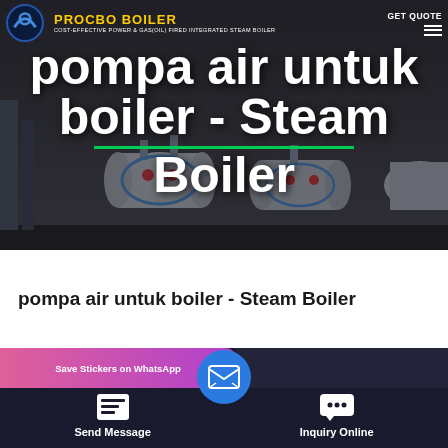[Figure (screenshot): Hero banner showing Procbo Boiler website header with dark background, industrial steam boilers in background, large white bold text reading 'pompa air untuk boiler - Steam Boiler', logo top-left, GET QUOTE and hamburger menu top-right, green underline accent]
pompa air untuk boiler - Steam Boiler
[Figure (screenshot): Website bottom navigation bar with dark background showing: Save Stickers on WhatsApp pink/purple banner on left, Send Message button with document icon on left, central circular blue email/message icon, Inquiry Online button with chat icon on right]